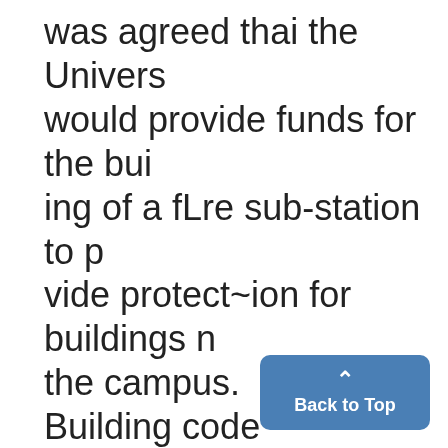was agreed thai the Univers would provide funds for the bui ing of a fLre sub-station to p vide protect~ion for buildings n the campus. Building code deviations w approved by council after Ma William E. Brown Jr. said that present construction rate dwelling units was not up to mand in aL'y way. Mayor Bro declared that only 17 homes h: been completed this year in A Arbor because of materials sho